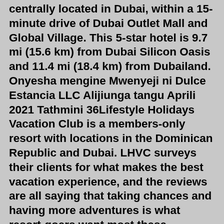centrally located in Dubai, within a 15-minute drive of Dubai Outlet Mall and Global Village. This 5-star hotel is 9.7 mi (15.6 km) from Dubai Silicon Oasis and 11.4 mi (18.4 km) from Dubailand. Onyesha mengine Mwenyeji ni Dulce Estancia LLC Alijiunga tangu Aprili 2021 Tathmini 36Lifestyle Holidays Vacation Club is a members-only resort with locations in the Dominican Republic and Dubai. LHVC surveys their clients for what makes the best vacation experience, and the reviews are all saying that taking chances and having more adventures is what resort-goers want most these days.The move is the latest in LHVC's ongoing portfolio expansion that will now include the oasis that is Dubai. Markus Wischenbart, Owner and President of LHVC, was excited to announce his plans to expand his company's footprint in the Emirates in conjunction with the Al Habtoor Group, one of the UAE's most respected and successful businesses.The deal we speak of is the one between LHVC and Al Habtoor Group and it sees the former expand its portfolio thanks to the already impressive offerings